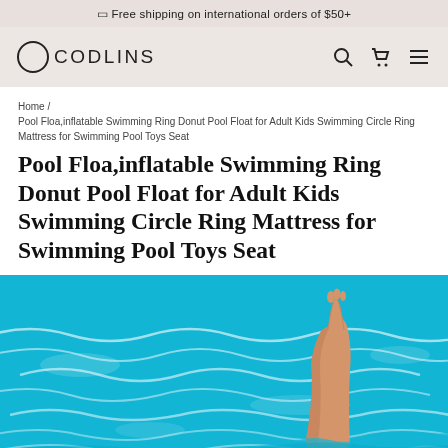🔲 Free shipping on international orders of $50+
[Figure (logo): Ocodlins brand logo with circle icon and text]
Home / Pool Floa,inflatable Swimming Ring Donut Pool Float for Adult Kids Swimming Circle Ring Mattress for Swimming Pool Toys Seat
Pool Floa,inflatable Swimming Ring Donut Pool Float for Adult Kids Swimming Circle Ring Mattress for Swimming Pool Toys Seat
[Figure (photo): A leg raised out of bright blue swimming pool water with white ripple patterns]